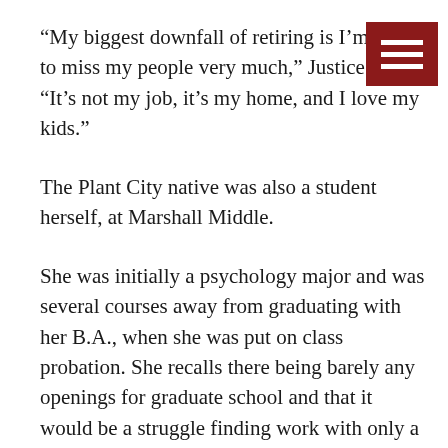[Figure (other): Dark red hamburger menu icon with three white horizontal bars in the top-right corner]
“My biggest downfall of retiring is I’m going to miss my people very much,” Justice said. “It’s not my job, it’s my home, and I love my kids.”
The Plant City native was also a student herself, at Marshall Middle.
She was initially a psychology major and was several courses away from graduating with her B.A., when she was put on class probation. She recalls there being barely any openings for graduate school and that it would be a struggle finding work with only a B.A. in psychology.
Her guidance counselor suggested that she